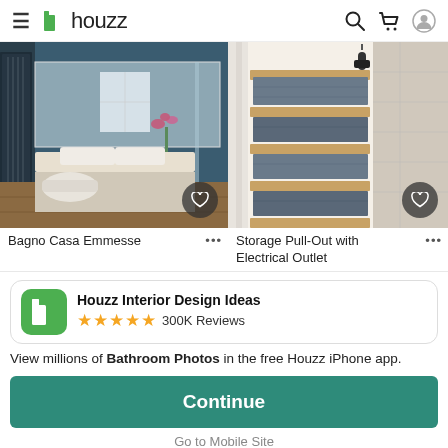≡ h houzz
[Figure (photo): Bathroom interior photo - Bagno Casa Emmesse. Modern bathroom with dark blue walls, large mirror, white vanity countertop, wood floor, and orchid plant.]
[Figure (photo): Storage pull-out cabinet photo - Storage Pull-Out with Electrical Outlet. Wooden pull-out shelving unit with folded towels and a hair dryer mounted on the side.]
Bagno Casa Emmesse
Storage Pull-Out with Electrical Outlet
Houzz Interior Design Ideas ★★★★★ 300K Reviews
View millions of Bathroom Photos in the free Houzz iPhone app.
Continue
Go to Mobile Site